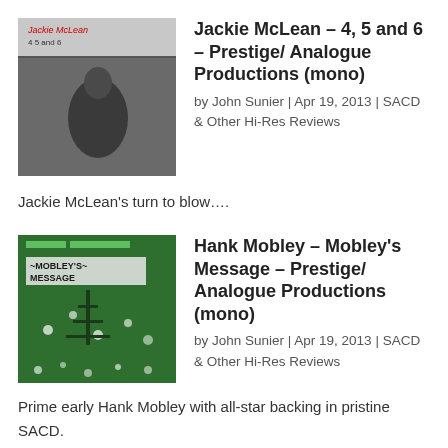[Figure (photo): Album cover for Jackie McLean – 4, 5 and 6, black and white photo of musician]
Jackie McLean – 4, 5 and 6 – Prestige/ Analogue Productions (mono)
by John Sunier | Apr 19, 2013 | SACD & Other Hi-Res Reviews
Jackie McLean's turn to blow….
[Figure (photo): Album cover for Hank Mobley – Mobley's Message, green cover with text]
Hank Mobley – Mobley's Message – Prestige/ Analogue Productions (mono)
by John Sunier | Apr 19, 2013 | SACD & Other Hi-Res Reviews
Prime early Hank Mobley with all-star backing in pristine SACD.
Audio News for February 12, 2013